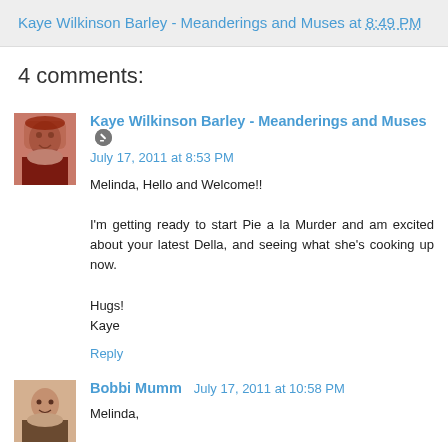Kaye Wilkinson Barley - Meanderings and Muses at 8:49 PM
4 comments:
Kaye Wilkinson Barley - Meanderings and Muses  July 17, 2011 at 8:53 PM
Melinda, Hello and Welcome!!

I'm getting ready to start Pie a la Murder and am excited about your latest Della, and seeing what she's cooking up now.

Hugs!
Kaye
Reply
Bobbi Mumm  July 17, 2011 at 10:58 PM
Melinda,